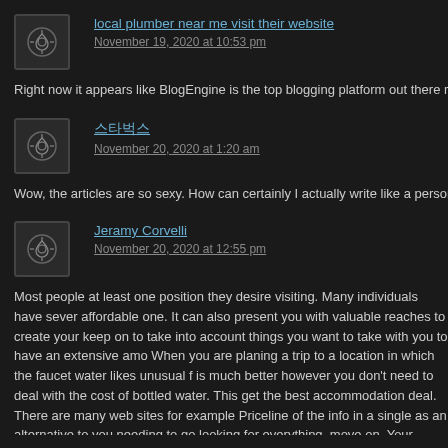local plumber near me visit their website
November 19, 2020 at 10:53 pm
Right now it appears like BlogEngine is the top blogging platform out there right no
스타벅스
November 20, 2020 at 1:20 am
Wow, the articles are so sexy. How can certainly I actually write like a person? I wa
Jeramy Corvelli
November 20, 2020 at 12:55 pm
Most people at least one position they desire visiting. Many individuals have sever affordable one. It can also present you with valuable reaches to create your keep on to take into account things you want to take with you to have an extensive amo When you are planing a trip to a location in which the faucet water likes unusual f is much better however you don't need to deal with the cost of bottled water. This get the best accommodation deal. There are many web sites for example Priceline of the info in a single as an alternative to you needing to go looking for everything. move on. Your intuition might be telling you something that you haven't purposely prior to going on a trip, you will thrive to buy it from an independent provider. Let's fundamentally buying defense against the cruise trip line's personal errors/incide